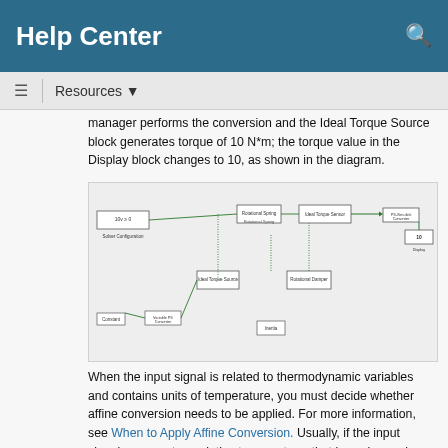Help Center
Resources
manager performs the conversion and the Ideal Torque Source block generates torque of 10 N*m; the torque value in the Display block changes to 10, as shown in the diagram.
[Figure (schematic): Simulink/Simscape block diagram showing Solver Configuration, Rotational Spring, Ideal Torque Sensor, PS-Simulink Converter, Display (showing 10), Ideal Torque Source, Rotational Damper, Inertia, Constant, and Variable PS Converter blocks connected with signal lines.]
When the input signal is related to thermodynamic variables and contains units of temperature, you must decide whether affine conversion needs to be applied. For more information, see When to Apply Affine Conversion. Usually, if the input signal represents a relative temperature, that is, a change in temperature, you need to apply linear conversion, ΔT_new = L * ΔT_old (the default method). However, if the input signal represents an absolute temperature, you need to apply affine conversion, T_new = L * T_old + O.